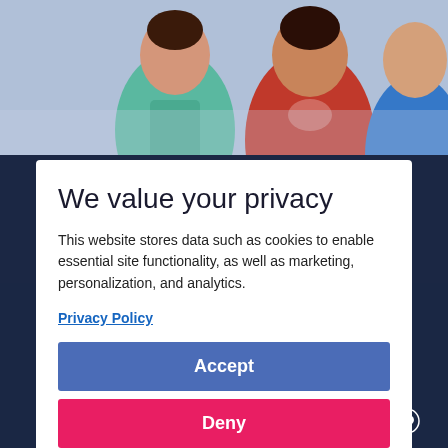[Figure (photo): Photo of children smiling, visible at the top of the page behind a modal dialog.]
We value your privacy
This website stores data such as cookies to enable essential site functionality, as well as marketing, personalization, and analytics.
Privacy Policy
Accept
Deny
Start free trial
Book product demo
For local authorities